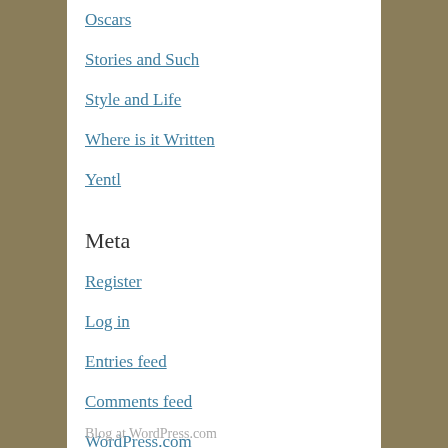Oscars
Stories and Such
Style and Life
Where is it Written
Yentl
Meta
Register
Log in
Entries feed
Comments feed
WordPress.com
Blog at WordPress.com